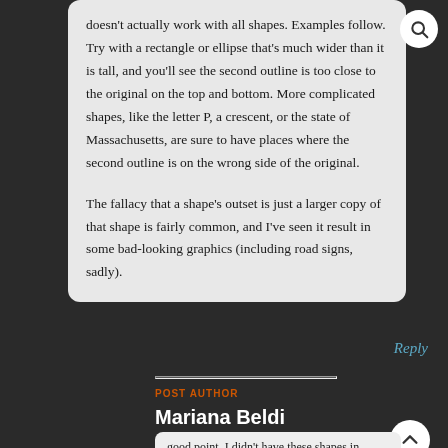doesn't actually work with all shapes. Examples follow. Try with a rectangle or ellipse that's much wider than it is tall, and you'll see the second outline is too close to the original on the top and bottom. More complicated shapes, like the letter P, a crescent, or the state of Massachusetts, are sure to have places where the second outline is on the wrong side of the original.

The fallacy that a shape's outset is just a larger copy of that shape is fairly common, and I've seen it result in some bad-looking graphics (including road signs, sadly).
Reply
POST AUTHOR
Mariana Beldi
# April 23, 2021
good point. I didn't have these shapes in